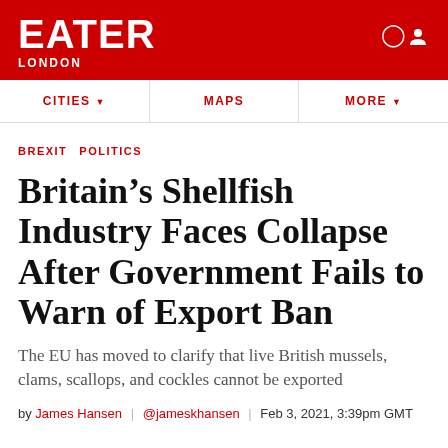EATER LONDON
CITIES MAPS MORE
BREXIT  POLITICS
Britain’s Shellfish Industry Faces Collapse After Government Fails to Warn of Export Ban
The EU has moved to clarify that live British mussels, clams, scallops, and cockles cannot be exported
by James Hansen | @jameskhansen | Feb 3, 2021, 3:39pm GMT